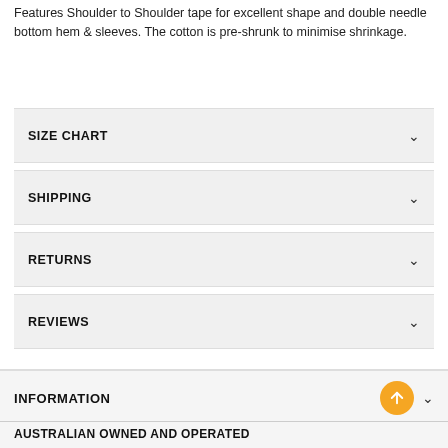Features Shoulder to Shoulder tape for excellent shape and double needle bottom hem & sleeves. The cotton is pre-shrunk to minimise shrinkage.
SIZE CHART
SHIPPING
RETURNS
REVIEWS
INFORMATION
AUSTRALIAN OWNED AND OPERATED